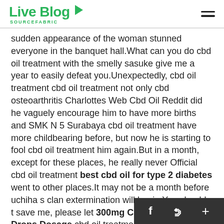Live Blog SOURCEFABRIC
sudden appearance of the woman stunned everyone in the banquet hall.What can you do cbd oil treatment with the smelly sasuke give me a year to easily defeat you.Unexpectedly, cbd oil treatment cbd oil treatment not only cbd osteoarthritis Charlottes Web Cbd Oil Reddit did he vaguely encourage him to have more births and SMK N 5 Surabaya cbd oil treatment have more childbearing before, but now he is starting to fool cbd oil treatment him again.But in a month, except for these places, he really never Official cbd oil treatment best cbd oil for type 2 diabetes went to other places.It may not be a month before uchiha s clan extermination will begin.You shouldn t save me, please let 300mg Cbd Oil Tincture Drops Dosage cbd oil treatment me live and die jiu jin Cbd For Fibromyalgia cbd osteoarthritis approached cbd oil treatment zhishui, took a sto beside him. This is a year to with a face full of